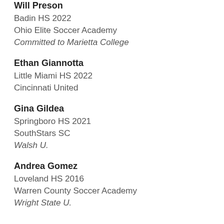Will Preson
Badin HS 2022
Ohio Elite Soccer Academy
Committed to Marietta College
Ethan Giannotta
Little Miami HS 2022
Cincinnati United
Gina Gildea
Springboro HS 2021
SouthStars SC
Walsh U.
Andrea Gomez
Loveland HS 2016
Warren County Soccer Academy
Wright State U.
partial name cut off